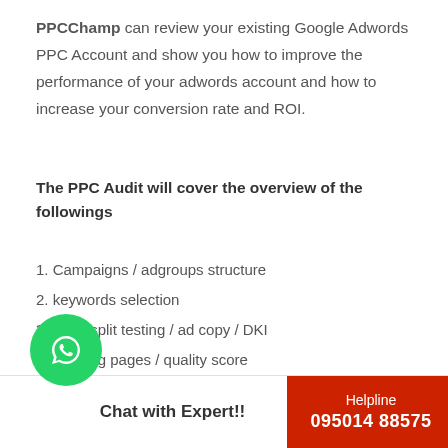PPCChamp can review your existing Google Adwords PPC Account and show you how to improve the performance of your adwords account and how to increase your conversion rate and ROI.
The PPC Audit will cover the overview of the followings
1. Campaigns / adgroups structure
2. keywords selection
3. Ads / split testing / ad copy / DKI
4. Landing pages / quality score
5. Conversion tracking / E-commerce Tracking / Goals
6. to improve the conversion rate?
7. to maximise the bounce rate?
8. how to optimise your campaigns on
Chat with Expert!!
Helpline 095014 88575